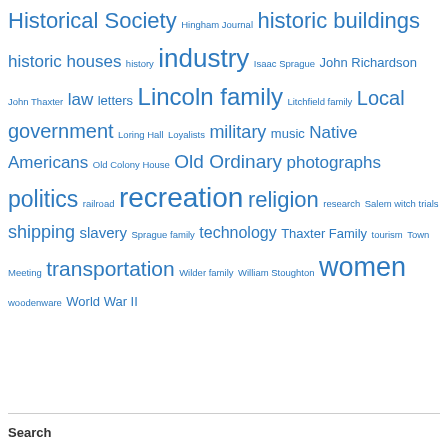[Figure (other): Tag cloud of topics from a historical society website, displayed in varying font sizes in blue, including terms like recreation, politics, women, transportation, shipping, industry, Lincoln family, Local government, etc.]
Search